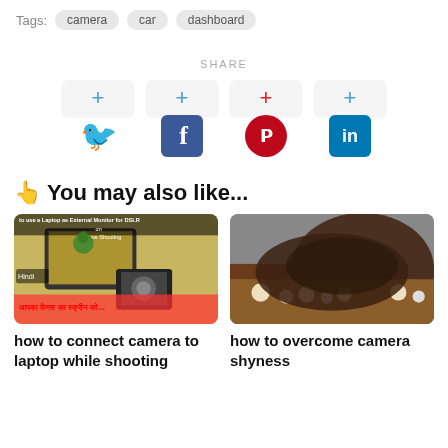Tags: camera car dashboard
SHARE
[Figure (infographic): Share buttons for Twitter, Facebook, Pinterest, LinkedIn — each with a plus button above and social media icon below]
👆 You may also like...
[Figure (photo): Thumbnail image showing a laptop used as external monitor for DSLR camera with Hindi text overlay]
how to connect camera to laptop while shooting
[Figure (photo): Thumbnail image showing a child hiding their face behind a table with rocks]
how to overcome camera shyness